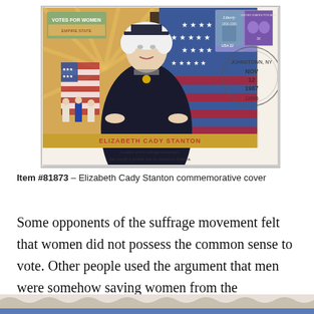[Figure (illustration): Elizabeth Cady Stanton commemorative first day cover envelope with illustration of Elizabeth Cady Stanton in black robe with suffrage imagery, postage stamps (Liberty USA 22 cent and United States Postage 3 cent), and postmark reading Johnstown NY NOV 12 1987 12095. Below the illustration text reads ELIZABETH CADY STANTON - A leader of the suffrage movement, she sought a greater role for women in America.]
Item #81873 – Elizabeth Cady Stanton commemorative cover
Some opponents of the suffrage movement felt that women did not possess the common sense to vote. Other people used the argument that men were somehow saving women from the “contaminating and demoralizing” responsibility of voting.